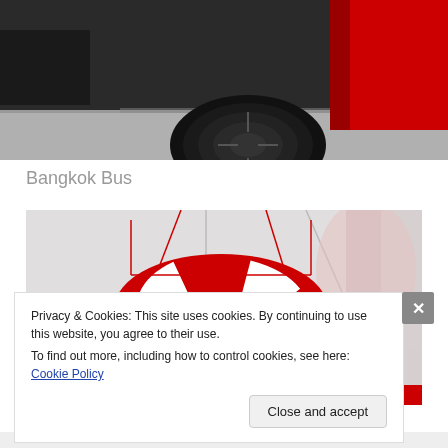[Figure (photo): Close-up photo of the underside/wheel area of a red bus or vehicle, showing a black tire on grey pavement with red bodywork visible]
Bangkok Bus
[Figure (photo): Interior photo of a Bangkok bus ceiling showing a red and white life ring/flotation device mounted to the ceiling, with watermark '© Blair McMurray Photography']
Privacy & Cookies: This site uses cookies. By continuing to use this website, you agree to their use.
To find out more, including how to control cookies, see here: Cookie Policy